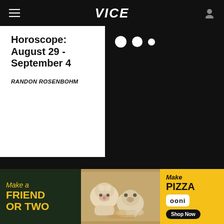VICE
Horoscope: August 29 - September 4
RANDON ROSENBOHM
[Figure (screenshot): Black image area with three white dots (carousel indicator)]
[Figure (advertisement): Ooni pizza oven advertisement banner: 'Make a Friend or Two' on dark background, center photo of pig and dog at picnic with pizza, right yellow panel with 'Make Pizza ooni Shop Now']